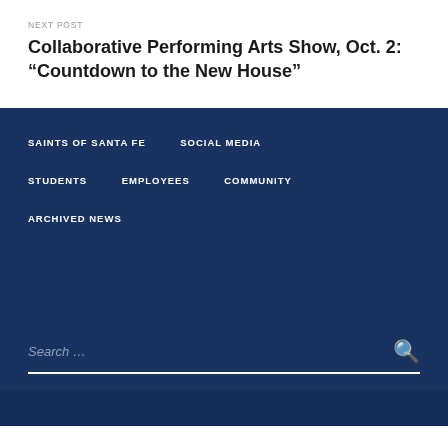NEXT POST
Collaborative Performing Arts Show, Oct. 2: “Countdown to the New House”
SAINTS OF SANTA FE
SOCIAL MEDIA
STUDENTS
EMPLOYEES
COMMUNITY
ARCHIVED NEWS
Search …